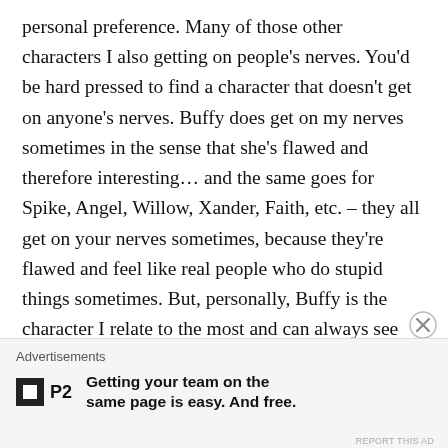personal preference. Many of those other characters I also getting on people's nerves. You'd be hard pressed to find a character that doesn't get on anyone's nerves. Buffy does get on my nerves sometimes in the sense that she's flawed and therefore interesting… and the same goes for Spike, Angel, Willow, Xander, Faith, etc. – they all get on your nerves sometimes, because they're flawed and feel like real people who do stupid things sometimes. But, personally, Buffy is the character I relate to the most and can always see where she's coming from, and the character I love the most (or one of the two
Advertisements
Getting your team on the same page is easy. And free.